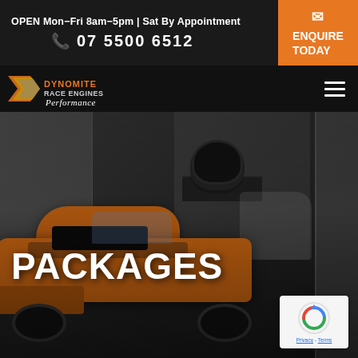OPEN Mon–Fri 8am–5pm | Sat By Appointment
07 5500 6512
ENQUIRE TODAY
[Figure (logo): Dynomite Performance logo with chevron/racing stripe graphic and italic script text]
[Figure (photo): Dark garage interior with an orange sports/race car (Corvette-style) parked inside, tires stacked on shelf in background, white wall panels visible]
PACKAGES
[Figure (logo): Google reCAPTCHA badge with circular arrow icon, Privacy and Terms links]